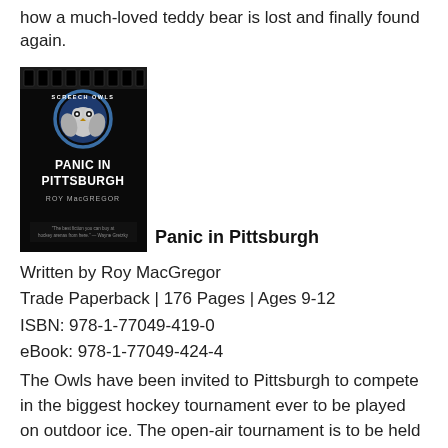how a much-loved teddy bear is lost and finally found again.
[Figure (photo): Book cover of 'Panic in Pittsburgh' by Roy MacGregor, Screech Owls series. Dark cover with owl mascot logo at top and title text below.]
Panic in Pittsburgh
Written by Roy MacGregor
Trade Paperback | 176 Pages | Ages 9-12
ISBN: 978-1-77049-419-0
eBook: 978-1-77049-424-4
The Owls have been invited to Pittsburgh to compete in the biggest hockey tournament ever to be played on outdoor ice. The open-air tournament is to be held in the massive Heinz Field arena, home of football's mighty Pittsburgh Steelers. But almost as soon as the